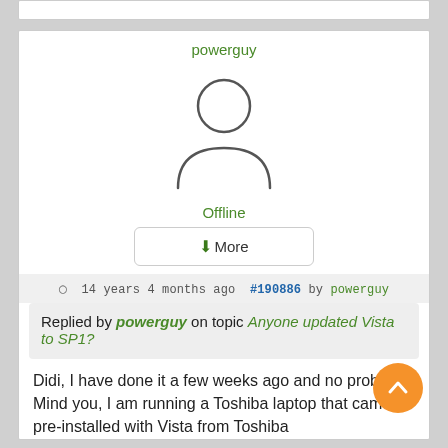powerguy
[Figure (illustration): Generic user avatar silhouette outline (person icon, no photo)]
Offline
↓More
14 years 4 months ago #190886 by powerguy
Replied by powerguy on topic Anyone updated Vista to SP1?
Didi, I have done it a few weeks ago and no probs. Mind you, I am running a Toshiba laptop that came pre-installed with Vista from Toshiba